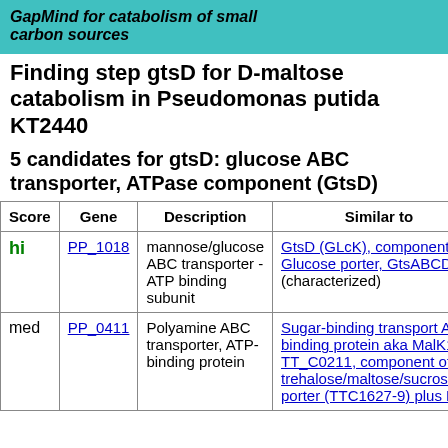GapMind for catabolism of small carbon sources
Finding step gtsD for D-maltose catabolism in Pseudomonas putida KT2440
5 candidates for gtsD: glucose ABC transporter, ATPase component (GtsD)
| Score | Gene | Description | Similar to |
| --- | --- | --- | --- |
| hi | PP_1018 | mannose/glucose ABC transporter - ATP binding subunit | GtsD (GLcK), component of Glucose porter, GtsABCD (characterized) |
| med | PP_0411 | Polyamine ABC transporter, ATP-binding protein | Sugar-binding transport ATP-binding protein aka MalK1 aka TT_C0211, component of trehalose/maltose/sucrose/pa porter (TTC1627-9) plus Ma |